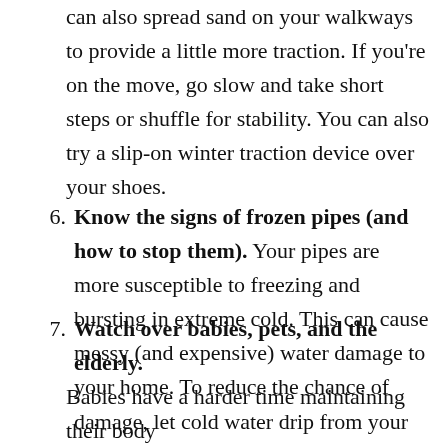can also spread sand on your walkways to provide a little more traction. If you're on the move, go slow and take short steps or shuffle for stability. You can also try a slip-on winter traction device over your shoes.
6. Know the signs of frozen pipes (and how to stop them). Your pipes are more susceptible to freezing and bursting in extreme cold. This can cause messy (and expensive) water damage to your home. To reduce the chance of damage, let cold water drip from your faucets and open the cabinets below your sinks. Add some extra protection by covering your pipes with insulation. Get more tips in this related story on preventing frozen pipes.
7. Watch over babies, pets, and the elderly. Babies have a harder time maintaining their body...